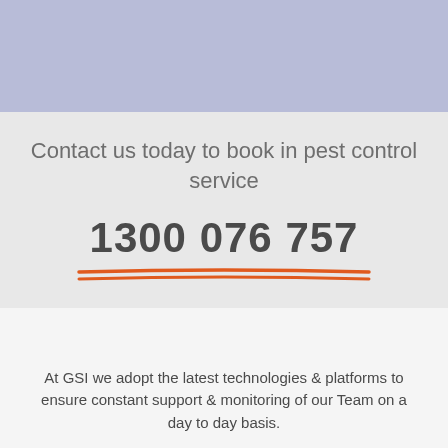[Figure (other): Blue/lavender banner background at top of page]
Contact us today to book in pest control service
1300 076 757
At GSI we adopt the latest technologies & platforms to ensure constant support & monitoring of our Team on a day to day basis.